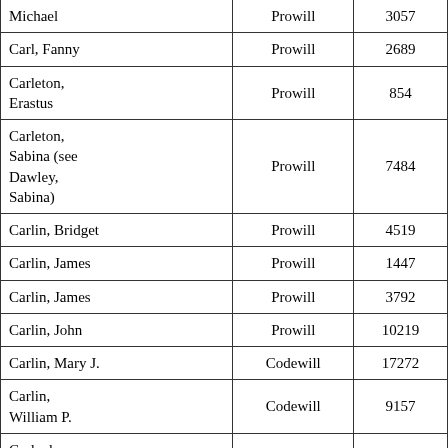| Michael | Prowill | 3057 |
| Carl, Fanny | Prowill | 2689 |
| Carleton, Erastus | Prowill | 854 |
| Carleton, Sabina (see Dawley, Sabina) | Prowill | 7484 |
| Carlin, Bridget | Prowill | 4519 |
| Carlin, James | Prowill | 1447 |
| Carlin, James | Prowill | 3792 |
| Carlin, John | Prowill | 10219 |
| Carlin, Mary J. | Codewill | 17272 |
| Carlin, William P. | Codewill | 9157 |
| Carlock, Charles Edmon | Codewill | 15304 |
| Carlsen, William L. | Codewill | 18463 |
| Carlson, Carl |  |  |